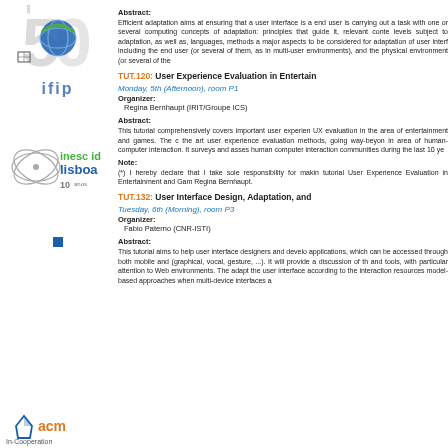[Figure (logo): IFIP 50 years anniversary logo with globe and '50' numerals, and 'ifip' text below]
[Figure (logo): inesc id lisboa 10 years logo with orbital atom graphic]
[Figure (other): Small blue square bullet point]
[Figure (logo): ACM In-Cooperation logo with house icon and 'acm' text]
Abstract:
Efficient adaptation aims at ensuring that a user interface is a end user is carrying out a task with one or several computing concepts of adaptation: principles that guide it, relevant conte levels subject to adaptation, as well as, languages, methods a major aspects to be considered for adaptation of user interf including the end user (or several of them, as in multi-user environments), and the physical environment (or several of the
TUT.120: User Experience Evaluation in Entertain
Monday, 5th (Afternoon), room P1
Organizer:
  Regina Bernhaupt (IRIT/Groupe ICS)
Abstract:
This tutorial comprehensively covers important user experience UX evaluation in the area of entertainment and games. The c the art user experience evaluation methods, going way-beyon in area of human-computer interaction. It surveys and asses human computer interaction communities during the last 10 ye
Note:
(*) I hereby declare that I take sole responsibility for makin tutorial User Experience Evaluation in Entertainment and Gam Regina Bernhaupt.
TUT.132: User Interface Design, Adaptation, and
Tuesday, 6th (Morning), room P3
Organizer:
  Fabio Paterno (CNR-ISTI)
Abstract:
This tutorial aims to help user interface designers and develo applications, which can be accessed through both mobile and (graphical, vocal, gesture, ...). It will provide a discussion of th and tools, with particular attention to Web environments. The adapt the user interface according to the interaction resources model-based approaches when multi-device interfaces a